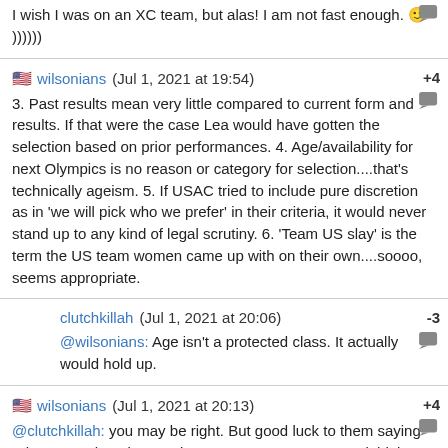I wish I was on an XC team, but alas! I am not fast enough. 🙂 ))))))
wilsonians (Jul 1, 2021 at 19:54) +4
3. Past results mean very little compared to current form and results. If that were the case Lea would have gotten the selection based on prior performances. 4. Age/availability for next Olympics is no reason or category for selection....that's technically ageism. 5. If USAC tried to include pure discretion as in 'we will pick who we prefer' in their criteria, it would never stand up to any kind of legal scrutiny. 6. 'Team US slay' is the term the US team women came up with on their own....soooo, seems appropriate.
clutchkillah (Jul 1, 2021 at 20:06) -3
@wilsonians: Age isn't a protected class. It actually would hold up.
wilsonians (Jul 1, 2021 at 20:13) +4
@clutchkillah: you may be right. But good luck to them saying "oh we are choosing you because you're younger and think you'll be better in a few years" bahaha. If they wanna put that in their discretionary criteria that's fine, they can have fine with every lawsuit under the sun.